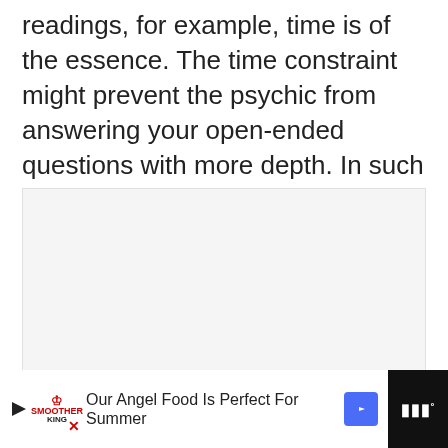readings, for example, time is of the essence. The time constraint might prevent the psychic from answering your open-ended questions with more depth. In such cases, you might opt to ask close-ended questions.
[Figure (other): A light gray image placeholder box with three navigation dots at the bottom center, suggesting a carousel or slideshow widget.]
Our Angel Food Is Perfect For Summer [Advertisement banner with play button, Smother King logo, navigation arrow, and WW logo]